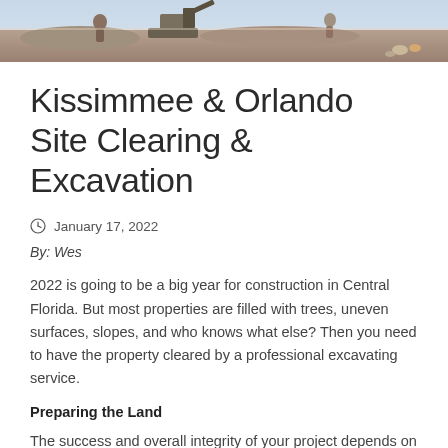[Figure (photo): Hero image of a construction site scene showing workers and equipment, appears to be excavation or site clearing work.]
Kissimmee & Orlando Site Clearing & Excavation
January 17, 2022
By: Wes
2022 is going to be a big year for construction in Central Florida. But most properties are filled with trees, uneven surfaces, slopes, and who knows what else? Then you need to have the property cleared by a professional excavating service.
Preparing the Land
The success and overall integrity of your project depends on properly preparing the property for